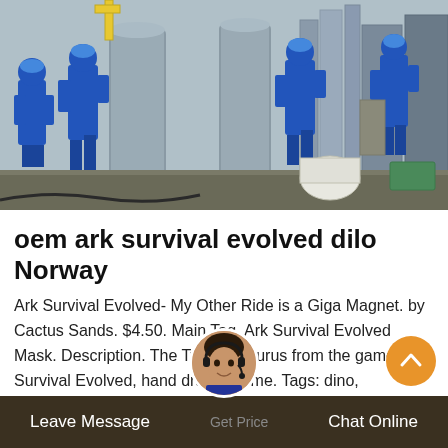[Figure (photo): Industrial workers in blue overalls and hard hats at an industrial facility with large metal tanks and equipment]
oem ark survival evolved dilo Norway
Ark Survival Evolved- My Other Ride is a Giga Magnet. by Cactus Sands. $4.50. Main Tag. Ark Survival Evolved Mask. Description. The Tyrannosaurus from the game Ark: Survival Evolved, hand drawn by me. Tags: dino, dinosaurs, trex, prehistoric, gaming. Back to P...
Leave Message   Get Price   Chat Online